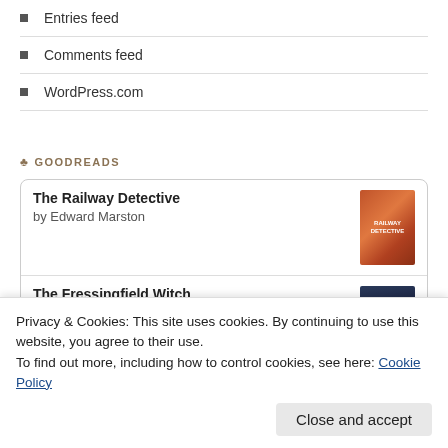Entries feed
Comments feed
WordPress.com
GOODREADS
The Railway Detective by Edward Marston
The Fressingfield Witch by Jacqueline Beard
Privacy & Cookies: This site uses cookies. By continuing to use this website, you agree to their use. To find out more, including how to control cookies, see here: Cookie Policy
Close and accept